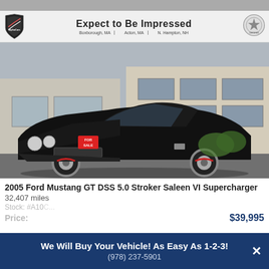[Figure (photo): AlphaCars dealer banner with logo, tagline 'Expect to Be Impressed', and three locations: Boxborough MA, Acton MA, N. Hampton NH]
[Figure (photo): Black 2005 Ford Mustang GT parked in front of a building, with a red FOR SALE tag on the windshield]
2005 Ford Mustang GT DSS 5.0 Stroker Saleen VI Supercharger
32,407 miles
Stock: #A10...
Price: $39,995
We Will Buy Your Vehicle! As Easy As 1-2-3! (978) 237-5901